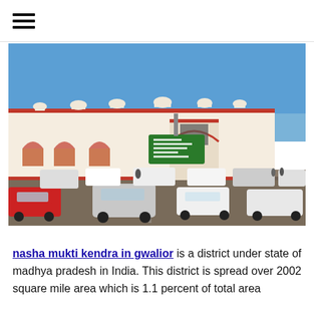☰
[Figure (photo): Street view of Gwalior Junction railway station with ornate white Mughal-style architecture, green road signs, and heavy traffic including cars and people on a sunny day.]
nasha mukti kendra in gwalior is a district under state of madhya pradesh in India. This district is spread over 2002 square mile area which is 1.1 percent of total area